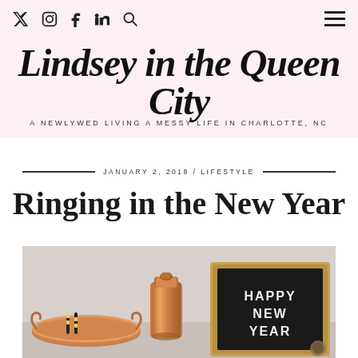Twitter Instagram Facebook LinkedIn Search [hamburger menu]
Lindsey in the Queen City
A NEWLYWED LIVING A MESSY LIFE IN CHARLOTTE, NC
JANUARY 2, 2018 / LIFESTYLE
Ringing in the New Year
[Figure (photo): Photo of rose gold cocktail shaker, copper tray with party items, and a black felt letter board reading HAPPY NEW YEAR on a light grey background]